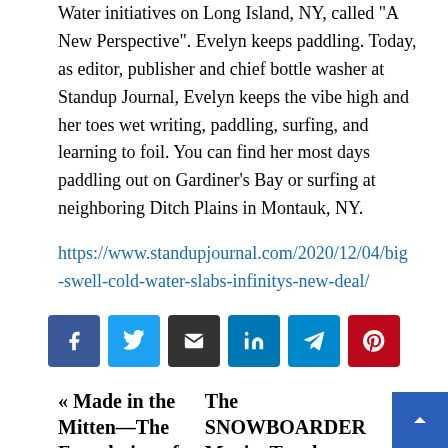Water initiatives on Long Island, NY, called "A New Perspective". Evelyn keeps paddling. Today, as editor, publisher and chief bottle washer at Standup Journal, Evelyn keeps the vibe high and her toes wet writing, paddling, surfing, and learning to foil. You can find her most days paddling out on Gardiner's Bay or surfing at neighboring Ditch Plains in Montauk, NY.
https://www.standupjournal.com/2020/12/04/big-swell-cold-water-slabs-infinitys-new-deal/
[Figure (other): Social sharing buttons: Facebook, Twitter, Email, LinkedIn, Telegram, Pinterest]
« Made in the Mitten—The Foundation of
The SNOWBOARDER Movie: Tangle—